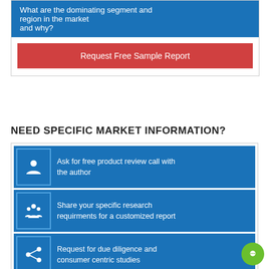What are the dominating segment and region in the market and why?
Request Free Sample Report
NEED SPECIFIC MARKET INFORMATION?
Ask for free product review call with the author
Share your specific research requirments for a customized report
Request for due diligence and consumer centric studies